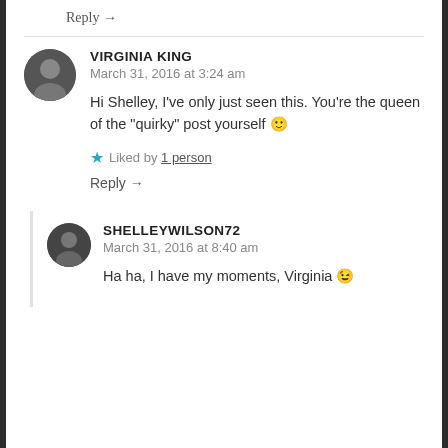Reply →
VIRGINIA KING
March 31, 2016 at 3:24 am
Hi Shelley, I've only just seen this. You're the queen of the "quirky" post yourself 🙂
★ Liked by 1 person
Reply →
SHELLEYWILSON72
March 31, 2016 at 8:40 am
Ha ha, I have my moments, Virginia 😉